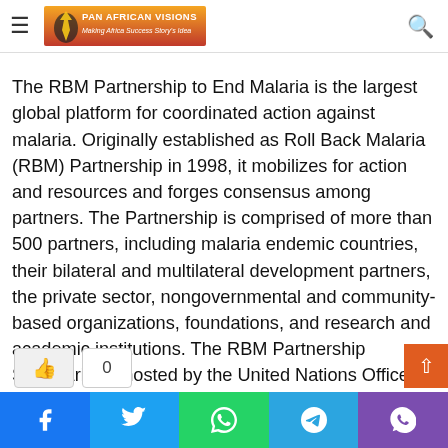Pan African Visions — Making Africa Success Story's Idea
The RBM Partnership to End Malaria is the largest global platform for coordinated action against malaria. Originally established as Roll Back Malaria (RBM) Partnership in 1998, it mobilizes for action and resources and forges consensus among partners. The Partnership is comprised of more than 500 partners, including malaria endemic countries, their bilateral and multilateral development partners, the private sector, nongovernmental and community-based organizations, foundations, and research and academic institutions. The RBM Partnership Secretariat is hosted by the United Nations Office for Project Services (UNOPS) in Geneva, Switzerland. endmalaria.org